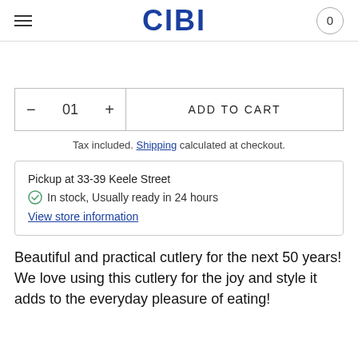CIBI | 0
01 ADD TO CART
Tax included. Shipping calculated at checkout.
Pickup at 33-39 Keele Street
In stock, Usually ready in 24 hours
View store information
Beautiful and practical cutlery for the next 50 years! We love using this cutlery for the joy and style it adds to the everyday pleasure of eating!